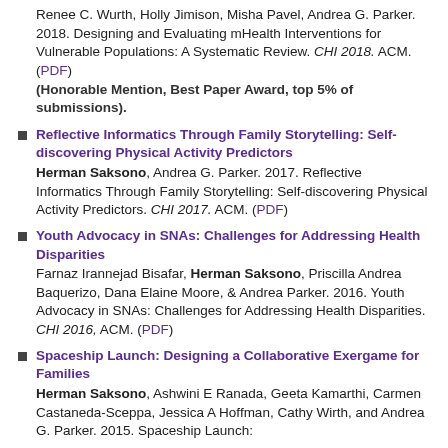Renee C. Wurth, Holly Jimison, Misha Pavel, Andrea G. Parker. 2018. Designing and Evaluating mHealth Interventions for Vulnerable Populations: A Systematic Review. CHI 2018. ACM. (PDF) (Honorable Mention, Best Paper Award, top 5% of submissions).
Reflective Informatics Through Family Storytelling: Self-discovering Physical Activity Predictors — Herman Saksono, Andrea G. Parker. 2017. Reflective Informatics Through Family Storytelling: Self-discovering Physical Activity Predictors. CHI 2017. ACM. (PDF)
Youth Advocacy in SNAs: Challenges for Addressing Health Disparities — Farnaz Irannejad Bisafar, Herman Saksono, Priscilla Andrea Baquerizo, Dana Elaine Moore, & Andrea Parker. 2016. Youth Advocacy in SNAs: Challenges for Addressing Health Disparities. CHI 2016. ACM. (PDF)
Spaceship Launch: Designing a Collaborative Exergame for Families — Herman Saksono, Ashwini E Ranada, Geeta Kamarthi, Carmen Castaneda-Sceppa, Jessica A Hoffman, Cathy Wirth, and Andrea G. Parker. 2015. Spaceship Launch: